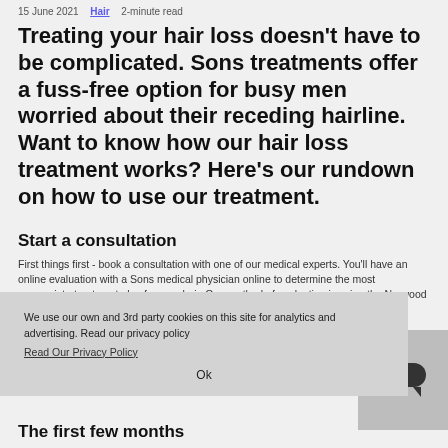15 June 2021 · Hair · 2-minute read
Treating your hair loss doesn't have to be complicated. Sons treatments offer a fuss-free option for busy men worried about their receding hairline. Want to know how our hair loss treatment works? Here's our rundown on how to use our treatment.
Start a consultation
First things first - book a consultation with one of our medical experts. You'll have an online evaluation with a Sons medical physician online to determine the most appropriate treatment plan for your hair. One method of evaluation is using the Norwood Scale - a quick way to determine where in the hair loss process you're at. Whether you're at stage three or stage six, figuring where you're at is crucial for nailing your treatment.
We use our own and 3rd party cookies on this site for analytics and advertising. Read our privacy policy
Read Our Privacy Policy
Ok
The first few months